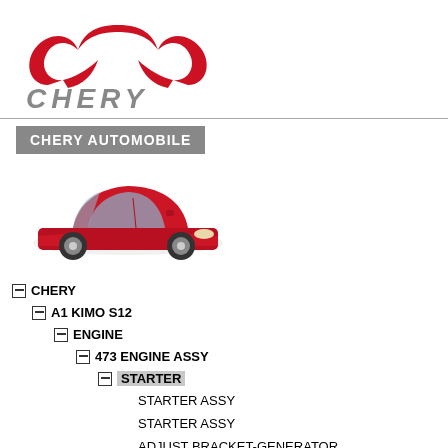[Figure (logo): Chery Automobile logo: red stylized crown/car emblem above the word CHERY in large gray italic letters]
[Figure (photo): Red Chery A1 Kimo S12 compact hatchback car, front-left view]
CHERY AUTOMOBILE
CHERY
A1 KIMO S12
ENGINE
473 ENGINE ASSY
STARTER
STARTER ASSY
STARTER ASSY
ADJUST BRACKET-GENERATOR
GENERATOR ASSY
BRACKET-GENERATOR LWR
HEAT INSULATOR COVER-GENERATOR